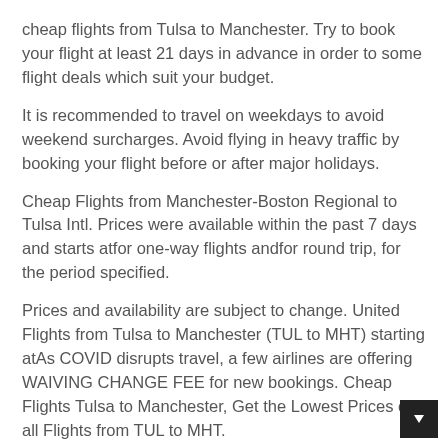cheap flights from Tulsa to Manchester. Try to book your flight at least 21 days in advance in order to some flight deals which suit your budget.
It is recommended to travel on weekdays to avoid weekend surcharges. Avoid flying in heavy traffic by booking your flight before or after major holidays.
Cheap Flights from Manchester-Boston Regional to Tulsa Intl. Prices were available within the past 7 days and starts atfor one-way flights andfor round trip, for the period specified.
Prices and availability are subject to change. United Flights from Tulsa to Manchester (TUL to MHT) starting atAs COVID disrupts travel, a few airlines are offering WAIVING CHANGE FEE for new bookings. Cheap Flights Tulsa to Manchester, Get the Lowest Prices on all Flights from TUL to MHT.
Book your Flight Deals to Manchester from Tulsa - TUL, Red Tag Seat Sale on Now! Over Travel Agents Find flights to Tulsa fromFly from Manchester on American Airlines, United Airlines and more.